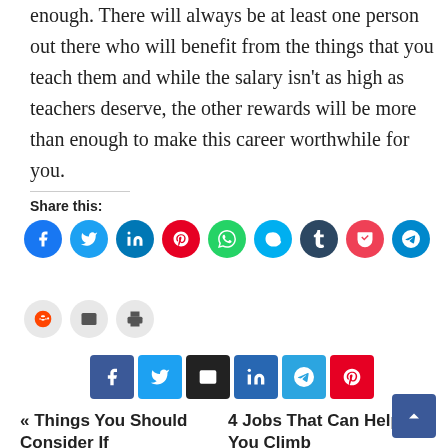enough. There will always be at least one person out there who will benefit from the things that you teach them and while the salary isn't as high as teachers deserve, the other rewards will be more than enough to make this career worthwhile for you.
Share this:
[Figure (infographic): Social share icon buttons: Facebook, Twitter, LinkedIn, Pinterest, WhatsApp, Skype, Tumblr, Pocket, Telegram (row 1); Reddit, Email, Print (row 2). Circular colored icons.]
[Figure (infographic): Square share buttons: Facebook, Twitter, Email, LinkedIn, Telegram, Pinterest]
« Things You Should Consider If
4 Jobs That Can Help You Climb